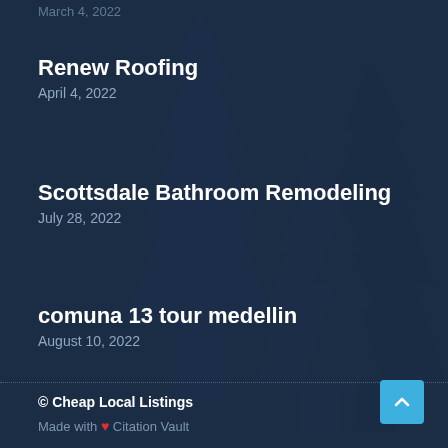Renew Roofing
April 4, 2022
Scottsdale Bathroom Remodeling
July 28, 2022
comuna 13 tour medellin
August 10, 2022
© Cheap Local Listings
Made with ❤ Citation Vault